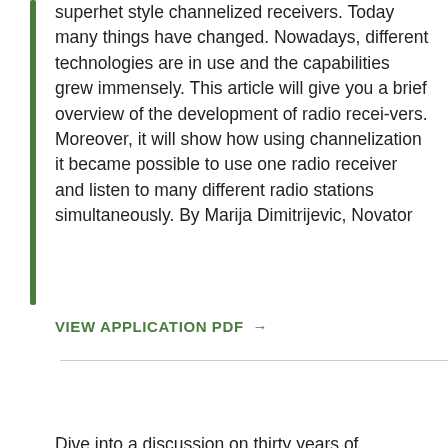superhet style channelized receivers. Today many things have changed. Nowadays, different technologies are in use and the capabilities grew immensely. This article will give you a brief overview of the development of radio recei-vers. Moreover, it will show how using channelization it became possible to use one radio receiver and listen to many different radio stations simultaneously. By Marija Dimitrijevic, Novator
VIEW APPLICATION PDF →
Software Defined Radio – Past, Present, and Future
Dive into a discussion on thirty years of Software